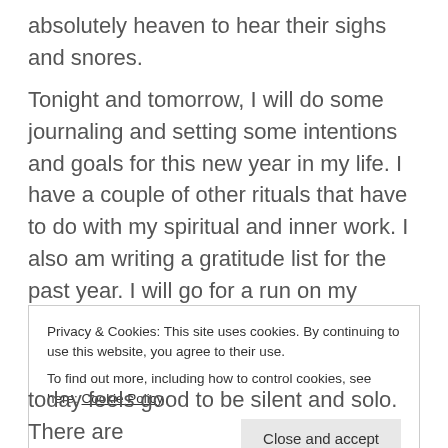absolutely heaven to hear their sighs and snores.
Tonight and tomorrow, I will do some journaling and setting some intentions and goals for this new year in my life. I have a couple of other rituals that have to do with my spiritual and inner work. I also am writing a gratitude list for the past year. I will go for a run on my favorite route and enjoy a nice long bike ride and a session in the pool swimming laps. I am slowly getting back into shape and the movement feels amazing.
Privacy & Cookies: This site uses cookies. By continuing to use this website, you agree to their use.
To find out more, including how to control cookies, see here: Cookie Policy
[Close and accept]
today feels good to be silent and solo. There are